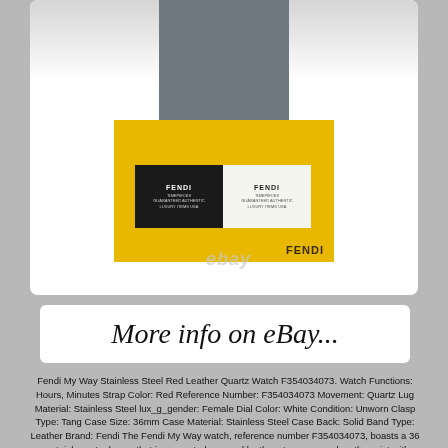[Figure (photo): Fendi watch packaging: gray box on top of yellow Fendi branded box, with black and white Fendi cards in front. eBay watermark visible.]
More info on eBay...
Fendi My Way Stainless Steel Red Leather Quartz Watch F354034073. Watch Functions: Hours, Minutes Strap Color: Red Reference Number: F354034073 Movement: Quartz Lug Material: Stainless Steel lux_g_gender: Female Dial Color: White Condition: Unworn Clasp Type: Tang Case Size: 36mm Case Material: Stainless Steel Case Back: Solid Band Type: Leather Brand: Fendi The Fendi My Way watch, reference number F354034073, boasts a 36 mm stainless steel case that is presented on a red leather strap, secured on the wrist with a tang buckle. This model